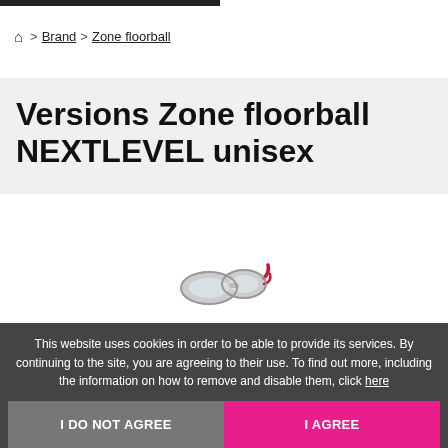🏠 > Brand > Zone floorball
Versions Zone floorball NEXTLEVEL unisex
[Figure (photo): Product image of Zone floorball NEXTLEVEL unisex goggles/eyewear in grey and red]
This website uses cookies in order to be able to provide its services. By continuing to the site, you are agreeing to their use. To find out more, including the information on how to remove and disable them, click here
I DO NOT AGREE | I AGREE